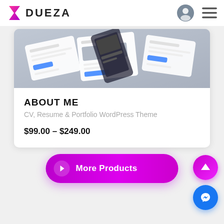DUEZA
[Figure (screenshot): UI mockup screenshots of a WordPress theme showing dashboard and portfolio pages arranged at an angle]
ABOUT ME
CV, Resume & Portfolio WordPress Theme
$99.00 – $249.00
More Products